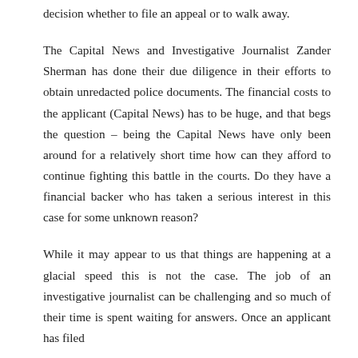decision whether to file an appeal or to walk away.
The Capital News and Investigative Journalist Zander Sherman has done their due diligence in their efforts to obtain unredacted police documents. The financial costs to the applicant (Capital News) has to be huge, and that begs the question – being the Capital News have only been around for a relatively short time how can they afford to continue fighting this battle in the courts. Do they have a financial backer who has taken a serious interest in this case for some unknown reason?
While it may appear to us that things are happening at a glacial speed this is not the case. The job of an investigative journalist can be challenging and so much of their time is spent waiting for answers. Once an applicant has filed